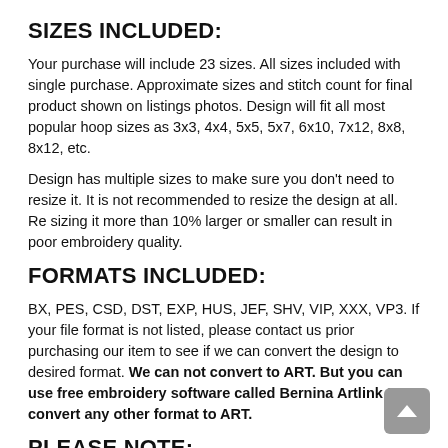SIZES INCLUDED:
Your purchase will include 23 sizes. All sizes included with single purchase. Approximate sizes and stitch count for final product shown on listings photos. Design will fit all most popular hoop sizes as 3x3, 4x4, 5x5, 5x7, 6x10, 7x12, 8x8, 8x12, etc.
Design has multiple sizes to make sure you don't need to resize it. It is not recommended to resize the design at all. Re sizing it more than 10% larger or smaller can result in poor embroidery quality.
FORMATS INCLUDED:
BX, PES, CSD, DST, EXP, HUS, JEF, SHV, VIP, XXX, VP3. If your file format is not listed, please contact us prior purchasing our item to see if we can convert the design to desired format. We can not convert to ART. But you can use free embroidery software called Bernina Artlink to convert any other format to ART.
PLEASE NOTE: